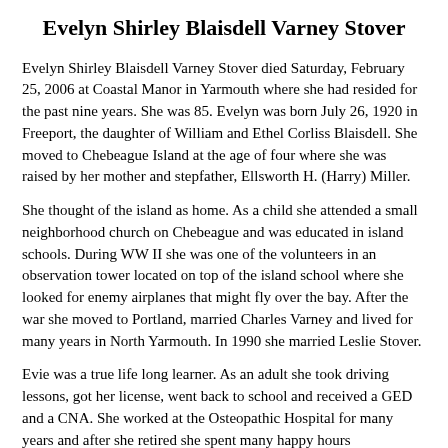Evelyn Shirley Blaisdell Varney Stover
Evelyn Shirley Blaisdell Varney Stover died Saturday, February 25, 2006 at Coastal Manor in Yarmouth where she had resided for the past nine years. She was 85. Evelyn was born July 26, 1920 in Freeport, the daughter of William and Ethel Corliss Blaisdell. She moved to Chebeague Island at the age of four where she was raised by her mother and stepfather, Ellsworth H. (Harry) Miller.
She thought of the island as home. As a child she attended a small neighborhood church on Chebeague and was educated in island schools. During WW II she was one of the volunteers in an observation tower located on top of the island school where she looked for enemy airplanes that might fly over the bay. After the war she moved to Portland, married Charles Varney and lived for many years in North Yarmouth. In 1990 she married Leslie Stover.
Evie was a true life long learner. As an adult she took driving lessons, got her license, went back to school and received a GED and a CNA. She worked at the Osteopathic Hospital for many years and after she retired she spent many happy hours volunteering in the Foster Grandparents Program. One of her favorite activities was taking elderly friends and relatives out for a ride. She was a very kind person.